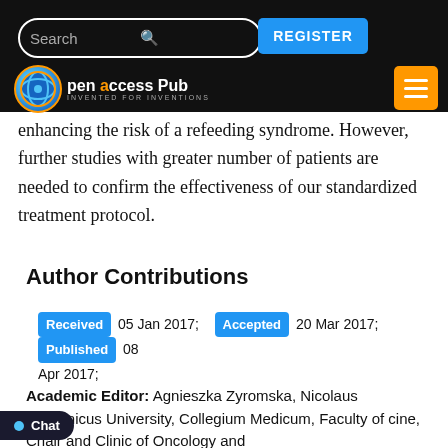Open Access Pub — Search / Register header
enhancing the risk of a refeeding syndrome. However, further studies with greater number of patients are needed to confirm the effectiveness of our standardized treatment protocol.
Author Contributions
Received 05 Jan 2017; Accepted 20 Mar 2017; Published 08 Apr 2017;
Academic Editor: Agnieszka Zyromska, Nicolaus Copernicus University, Collegium Medicum, Faculty of Medicine, Chair and Clinic of Oncology and